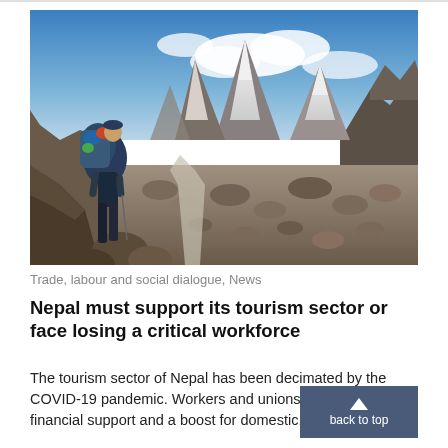[Figure (photo): A porter or trekker carrying a large backpack stands on a rocky trail in the Himalayas, with snow-capped mountain peaks and a glacial valley visible in the background under a partly cloudy blue sky.]
Trade, labour and social dialogue, News
Nepal must support its tourism sector or face losing a critical workforce
The tourism sector of Nepal has been decimated by the COVID-19 pandemic. Workers and unions call for more financial support and a boost for domestic...